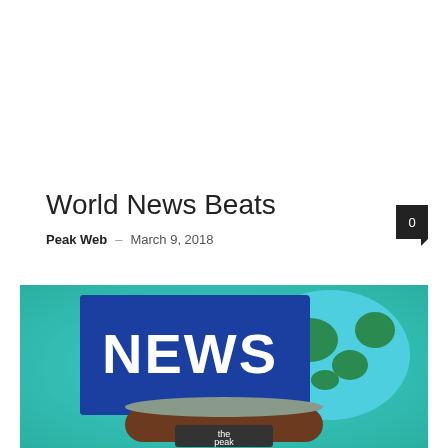World News Beats
Peak Web – March 9, 2018
[Figure (illustration): Illustrated news studio with a blue rectangle showing 'NEWS' in large white bold text overlaid on a globe/world map graphic in teal and green. Below is a brown anchor desk with 'the peak' text on a dark plaque.]